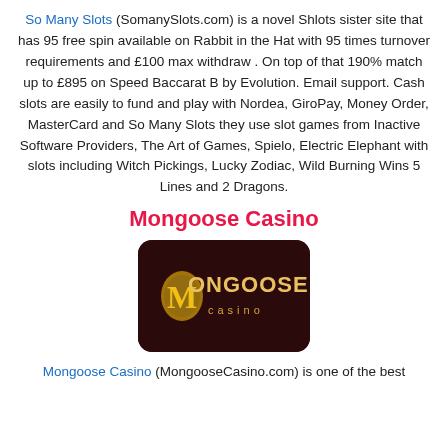So Many Slots (SomanySlots.com) is a novel Shlots sister site that has 95 free spin available on Rabbit in the Hat with 95 times turnover requirements and £100 max withdraw . On top of that 190% match up to £895 on Speed Baccarat B by Evolution. Email support. Cash slots are easily to fund and play with Nordea, GiroPay, Money Order, MasterCard and So Many Slots they use slot games from Inactive Software Providers, The Art of Games, Spielo, Electric Elephant with slots including Witch Pickings, Lucky Zodiac, Wild Burning Wins 5 Lines and 2 Dragons.
Mongoose Casino
[Figure (logo): Mongoose Casino logo: dark brown/maroon rounded rectangle background with gold and white 'MONGOOSE casino' text and decorative M emblem]
Mongoose Casino (MongooseCasino.com) is one of the best